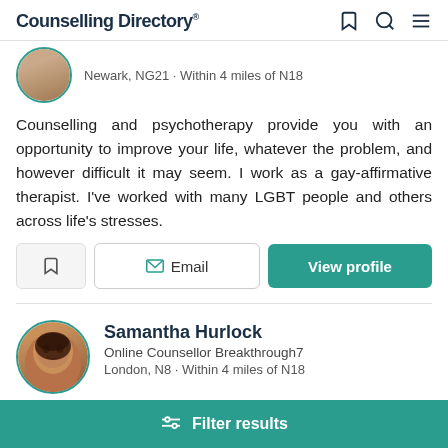Counselling Directory
Newark, NG21 · Within 4 miles of N18
Counselling and psychotherapy provide you with an opportunity to improve your life, whatever the problem, and however difficult it may seem. I work as a gay-affirmative therapist. I've worked with many LGBT people and others across life's stresses.
Samantha Hurlock
Online Counsellor Breakthrough7
London, N8 · Within 4 miles of N18
Filter results